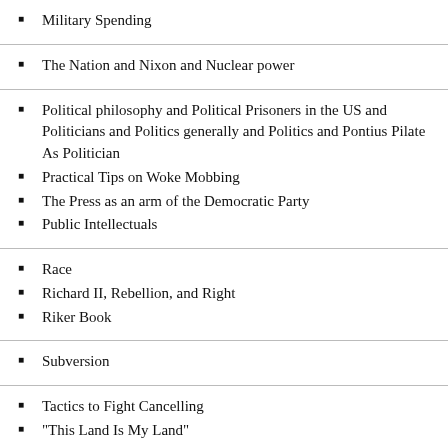Military Spending
The Nation and Nixon and Nuclear power
Political philosophy and Political Prisoners in the US and Politicians and Politics generally and Politics and Pontius Pilate As Politician
Practical Tips on Woke Mobbing
The Press as an arm of the Democratic Party
Public Intellectuals
Race
Richard II, Rebellion, and Right
Riker Book
Subversion
Tactics to Fight Cancelling
"This Land Is My Land"